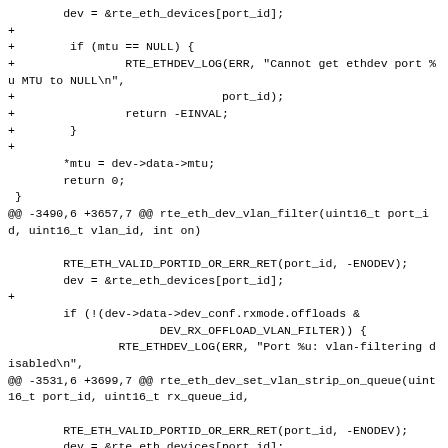dev = &rte_eth_devices[port_id];
+
+        if (mtu == NULL) {
+                RTE_ETHDEV_LOG(ERR, "Cannot get ethdev port %u MTU to NULL\n",
+                              port_id);
+                return -EINVAL;
+        }
+
        *mtu = dev->data->mtu;
        return 0;
 }
@@ -3490,6 +3657,7 @@ rte_eth_dev_vlan_filter(uint16_t port_id, uint16_t vlan_id, int on)

        RTE_ETH_VALID_PORTID_OR_ERR_RET(port_id, -ENODEV);
        dev = &rte_eth_devices[port_id];
+
        if (!(dev->data->dev_conf.rxmode.offloads &
                      DEV_RX_OFFLOAD_VLAN_FILTER)) {
                RTE_ETHDEV_LOG(ERR, "Port %u: vlan-filtering disabled\n",
@@ -3531,6 +3699,7 @@ rte_eth_dev_set_vlan_strip_on_queue(uint16_t port_id, uint16_t rx_queue_id,

        RTE_ETH_VALID_PORTID_OR_ERR_RET(port_id, -ENODEV);
        dev = &rte eth devices[port id];